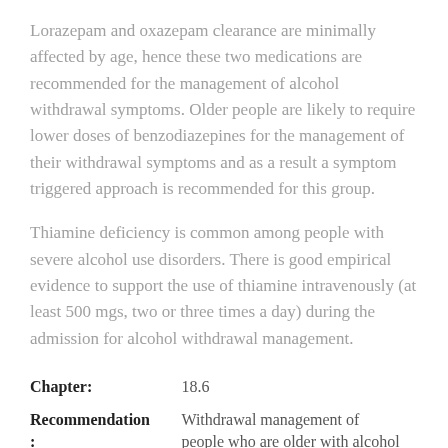Lorazepam and oxazepam clearance are minimally affected by age, hence these two medications are recommended for the management of alcohol withdrawal symptoms. Older people are likely to require lower doses of benzodiazepines for the management of their withdrawal symptoms and as a result a symptom triggered approach is recommended for this group.
Thiamine deficiency is common among people with severe alcohol use disorders. There is good empirical evidence to support the use of thiamine intravenously (at least 500 mgs, two or three times a day) during the admission for alcohol withdrawal management.
| Chapter: | 18.6 |
| Recommendation: | Withdrawal management of people who are older with alcohol |